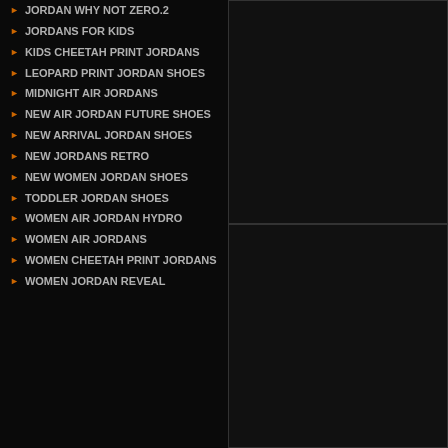JORDAN WHY NOT ZERO.2
JORDANS FOR KIDS
KIDS CHEETAH PRINT JORDANS
LEOPARD PRINT JORDAN SHOES
MIDNIGHT AIR JORDANS
NEW AIR JORDAN FUTURE SHOES
NEW ARRIVAL JORDAN SHOES
NEW JORDANS RETRO
NEW WOMEN JORDAN SHOES
TODDLER JORDAN SHOES
WOMEN AIR JORDAN HYDRO
WOMEN AIR JORDANS
WOMEN CHEETAH PRINT JORDANS
WOMEN JORDAN REVEAL
[Figure (screenshot): Dark content panel top right]
[Figure (screenshot): Dark content panel bottom right]